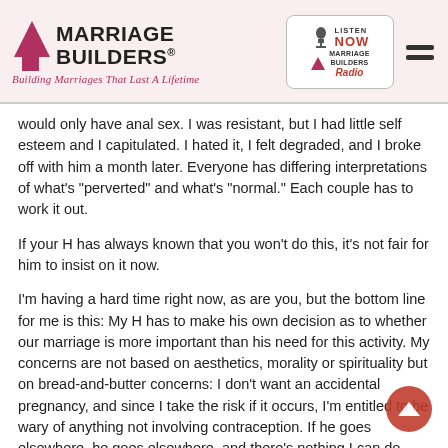Marriage Builders — Building Marriages That Last A Lifetime | Listen Now Marriage Builders Radio
would only have anal sex. I was resistant, but I had little self esteem and I capitulated. I hated it, I felt degraded, and I broke off with him a month later. Everyone has differing interpretations of what's "perverted" and what's "normal." Each couple has to work it out.
If your H has always known that you won't do this, it's not fair for him to insist on it now.
I'm having a hard time right now, as are you, but the bottom line for me is this: My H has to make his own decision as to whether our marriage is more important than his need for this activity. My concerns are not based on aesthetics, morality or spirituality but on bread-and-butter concerns: I don't want an accidental pregnancy, and since I take the risk if it occurs, I'm entitled to be wary of anything not involving contraception. If he goes elsewhere, he goes elsewhere, and there's nothing I can do about it.